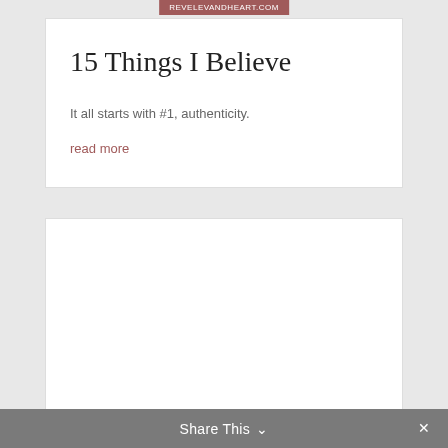REVELEVANDHEART.COM
15 Things I Believe
It all starts with #1, authenticity.
read more
[Figure (other): Empty white card/panel with border]
Share This ∨  ✕